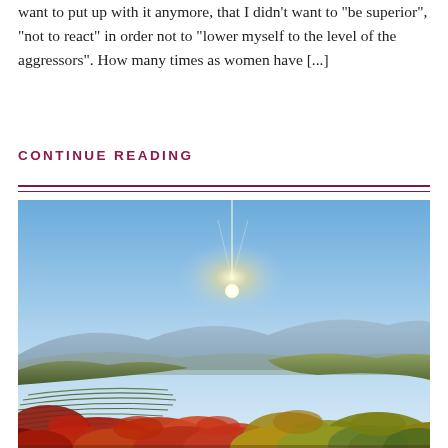want to put up with it anymore, that I didn't want to "be superior", "not to react" in order not to "lower myself to the level of the aggressors". How many times as women have [...]
CONTINUE READING
[Figure (photo): Autumn vineyard landscape with red and orange leaves in the foreground, rolling hills and mountains in the background, bright sun shining in a clear blue sky with a light starburst effect.]